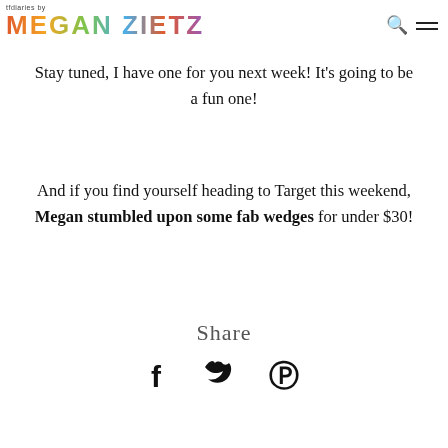tfdiaries by MEGAN ZIETZ
Stay tuned, I have one for you next week! It's going to be a fun one!
And if you find yourself heading to Target this weekend, Megan stumbled upon some fab wedges for under $30!
Share
[Figure (illustration): Social sharing icons: Facebook (f), Twitter (bird), Pinterest (P)]